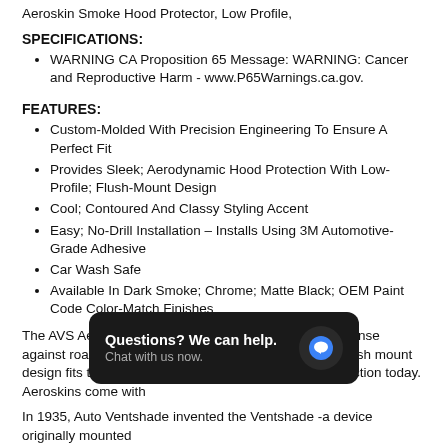Aeroskin Smoke Hood Protector, Low Profile,
SPECIFICATIONS:
WARNING CA Proposition 65 Message: WARNING: Cancer and Reproductive Harm - www.P65Warnings.ca.gov.
FEATURES:
Custom-Molded With Precision Engineering To Ensure A Perfect Fit
Provides Sleek; Aerodynamic Hood Protection With Low-Profile; Flush-Mount Design
Cool; Contoured And Classy Styling Accent
Easy; No-Drill Installation – Installs Using 3M Automotive-Grade Adhesive
Car Wash Safe
Available In Dark Smoke; Chrome; Matte Black; OEM Paint Code Color-Match Finishes
The AVS Aeroskin Hood Protector provides a tough defense against road debris for your vehicles hood. Aeroskins flush mount design fits the hood contours perfectly pro… protection today. Aeroskins come with…
In 1935, Auto Ventshade invented the Ventshade -a device originally mounted